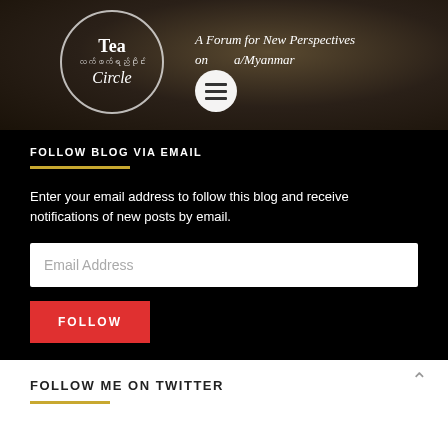[Figure (logo): Tea Circle logo — circular emblem with 'Tea' and 'Circle' text in English and Myanmar script, on a dark tea/bokeh background. Tagline: 'A Forum for New Perspectives on Burma/Myanmar'. Hamburger menu icon overlaid.]
FOLLOW BLOG VIA EMAIL
Enter your email address to follow this blog and receive notifications of new posts by email.
Email Address
FOLLOW
FOLLOW ME ON TWITTER